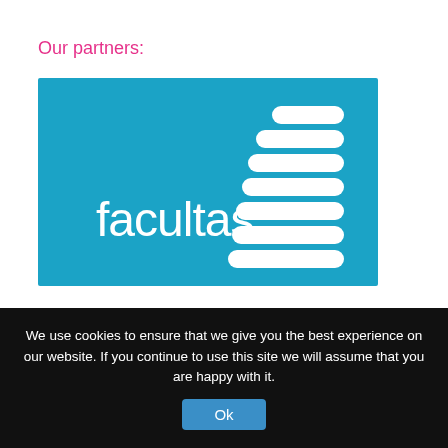Our partners:
[Figure (logo): Facultas logo: white text 'facultas' on a teal/blue background, with a staircase pattern of white rounded rectangles on the right side, increasing in width from top to bottom.]
[Figure (illustration): Partially visible second partner logo showing orange and blue document/book shapes cropped at the bottom of the page.]
We use cookies to ensure that we give you the best experience on our website. If you continue to use this site we will assume that you are happy with it.